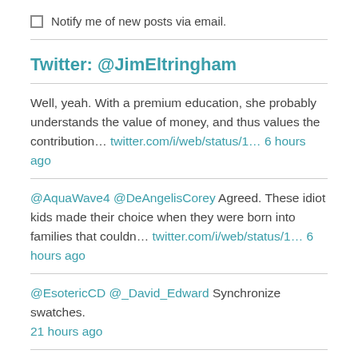Notify me of new posts via email.
Twitter: @JimEltringham
Well, yeah. With a premium education, she probably understands the value of money, and thus values the contribution... twitter.com/i/web/status/1... 6 hours ago
@AquaWave4 @DeAngelisCorey Agreed. These idiot kids made their choice when they were born into families that couldn... twitter.com/i/web/status/1... 6 hours ago
@EsotericCD @_David_Edward Synchronize swatches. 21 hours ago
@subbroilriders Unless you're the Yankees. 22 hours ago